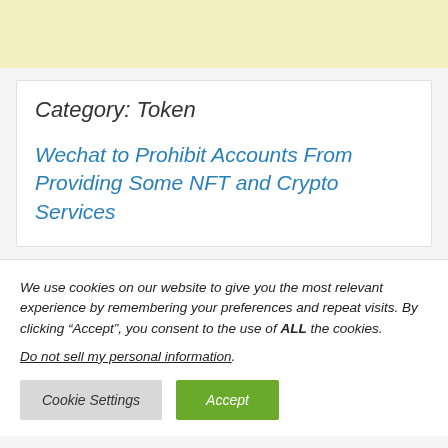Category: Token
Wechat to Prohibit Accounts From Providing Some NFT and Crypto Services
We use cookies on our website to give you the most relevant experience by remembering your preferences and repeat visits. By clicking “Accept”, you consent to the use of ALL the cookies.
Do not sell my personal information.